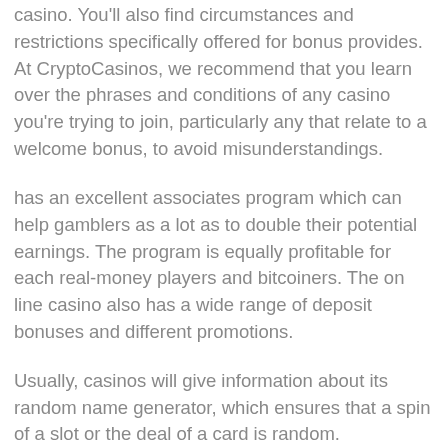casino. You'll also find circumstances and restrictions specifically offered for bonus provides. At CryptoCasinos, we recommend that you learn over the phrases and conditions of any casino you're trying to join, particularly any that relate to a welcome bonus, to avoid misunderstandings.
has an excellent associates program which can help gamblers as a lot as to double their potential earnings. The program is equally profitable for each real-money players and bitcoiners. The on line casino also has a wide range of deposit bonuses and different promotions.
Usually, casinos will give information about its random name generator, which ensures that a spin of a slot or the deal of a card is random. Meanwhile, blockchain-based video games have provably truthful systems that allow you to examine your self whether or not the game results are fair. But if you would like additional